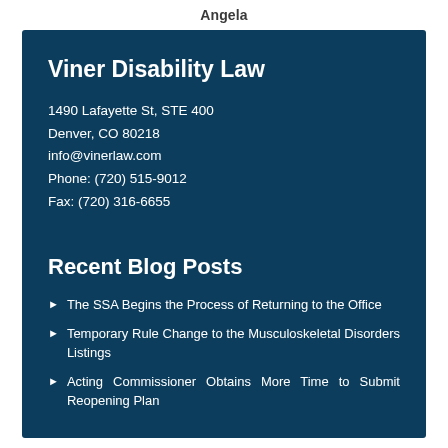Angela
Viner Disability Law
1490 Lafayette St, STE 400
Denver, CO 80218
info@vinerlaw.com
Phone: (720) 515-9012
Fax: (720) 316-6655
Recent Blog Posts
The SSA Begins the Process of Returning to the Office
Temporary Rule Change to the Musculoskeletal Disorders Listings
Acting Commissioner Obtains More Time to Submit Reopening Plan